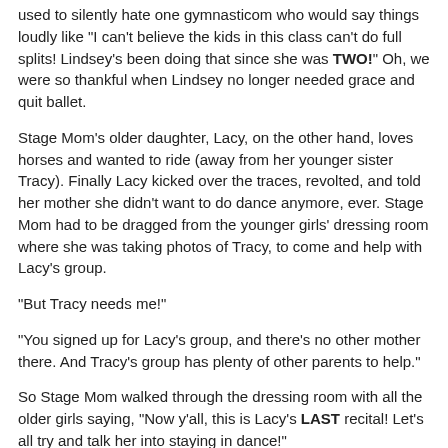used to silently hate one gymnasticom who would say things loudly like "I can't believe the kids in this class can't do full splits! Lindsey's been doing that since she was TWO!" Oh, we were so thankful when Lindsey no longer needed grace and quit ballet.
Stage Mom's older daughter, Lacy, on the other hand, loves horses and wanted to ride (away from her younger sister Tracy). Finally Lacy kicked over the traces, revolted, and told her mother she didn't want to do dance anymore, ever. Stage Mom had to be dragged from the younger girls' dressing room where she was taking photos of Tracy, to come and help with Lacy's group.
"But Tracy needs me!"
"You signed up for Lacy's group, and there's no other mother there. And Tracy's group has plenty of other parents to help."
So Stage Mom walked through the dressing room with all the older girls saying, "Now y'all, this is Lacy's LAST recital! Let's all try and talk her into staying in dance!"